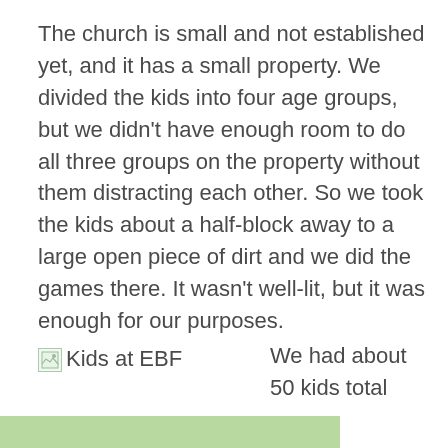The church is small and not established yet, and it has a small property. We divided the kids into four age groups, but we didn't have enough room to do all three groups on the property without them distracting each other. So we took the kids about a half-block away to a large open piece of dirt and we did the games there. It wasn't well-lit, but it was enough for our purposes.
[Figure (photo): Kids at EBF - image placeholder with broken image icon]
We had about 50 kids total